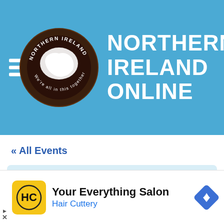NORTHERN IRELAND ONLINE
« All Events
This event has passed.
MMER SEASON NEWCASTLE
[Figure (infographic): Advertisement banner: Your Everything Salon - Hair Cuttery with HC logo and navigation icon]